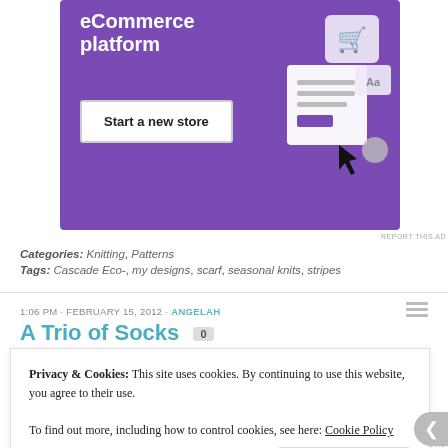[Figure (illustration): Purple eCommerce platform advertisement banner with 'Start a new store' button and UI mockup illustration]
Categories: Knitting, Patterns
Tags: Cascade Eco-, my designs, scarf, seasonal knits, stripes
1:06 PM · FEBRUARY 15, 2012 · ANGELAH
A Trio of Socks 0
[Figure (photo): Partial view of a wood-grain textured surface in warm brown/orange tones]
Privacy & Cookies: This site uses cookies. By continuing to use this website, you agree to their use.
To find out more, including how to control cookies, see here: Cookie Policy
Close and accept